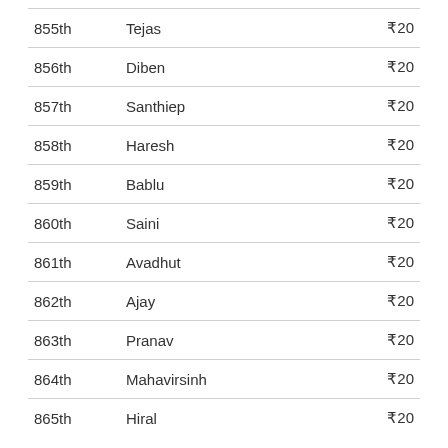| Rank | Name | Amount |
| --- | --- | --- |
| 855th | Tejas | ₹20 |
| 856th | Diben | ₹20 |
| 857th | Santhiep | ₹20 |
| 858th | Haresh | ₹20 |
| 859th | Bablu | ₹20 |
| 860th | Saini | ₹20 |
| 861th | Avadhut | ₹20 |
| 862th | Ajay | ₹20 |
| 863th | Pranav | ₹20 |
| 864th | Mahavirsinh | ₹20 |
| 865th | Hiral | ₹20 |